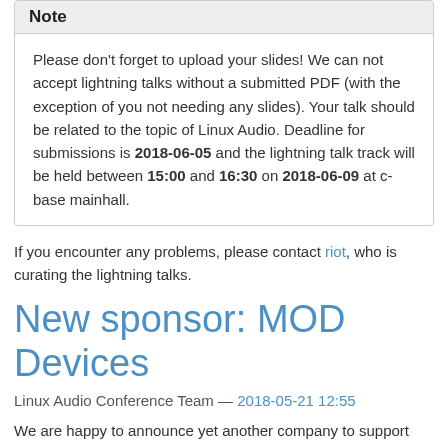Note
Please don't forget to upload your slides! We can not accept lightning talks without a submitted PDF (with the exception of you not needing any slides). Your talk should be related to the topic of Linux Audio. Deadline for submissions is 2018-06-05 and the lightning talk track will be held between 15:00 and 16:30 on 2018-06-09 at c-base mainhall.
If you encounter any problems, please contact riot, who is curating the lightning talks.
New sponsor: MOD Devices
Linux Audio Conference Team — 2018-05-21 12:55
We are happy to announce yet another company to support this year's LAC: MOD Devices!